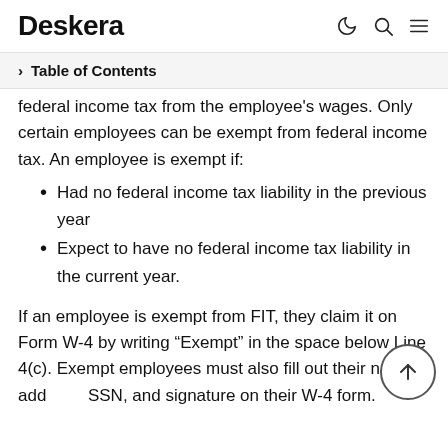Deskera
Table of Contents
federal income tax from the employee's wages. Only certain employees can be exempt from federal income tax. An employee is exempt if:
Had no federal income tax liability in the previous year
Expect to have no federal income tax liability in the current year.
If an employee is exempt from FIT, they claim it on Form W-4 by writing “Exempt” in the space below Line 4(c). Exempt employees must also fill out their name, address, SSN, and signature on their W-4 form.